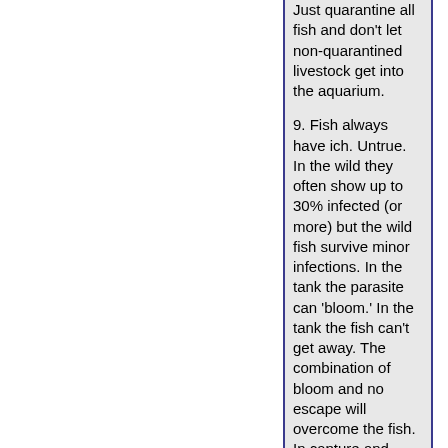Just quarantine all fish and don't let non-quarantined livestock get into the aquarium.
9. Fish always have ich. Untrue. In the wild they often show up to 30% infected (or more) but the wild fish survive minor infections. In the tank the parasite can 'bloom.' In the tank the fish can't get away. The combination of bloom and no escape will overcome the fish. In capture and transportation the fish can share the disease and thus many wild caught marine aquarium fishes do have this parasite, but not all.
10. A fish can't be made to be totally rid of MI. Untrue. All marine fish can be cured and rid of any MI infection.
11. Just feed the fish well and/or feed it garlic and it will be okay. Not true. Nutrition, foods, vitamins, etc. don't cure an infected fish. An infected fish is sick and is being tortured by